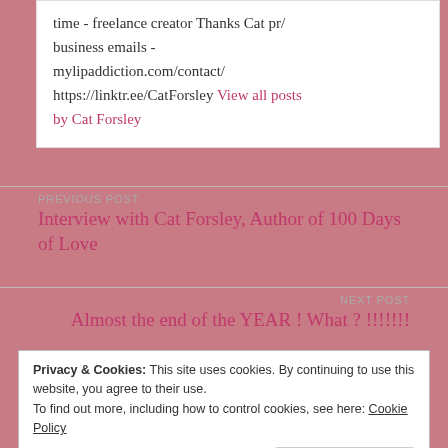time - freelance creator Thanks Cat pr/ business emails - mylipaddiction.com/contact/ https://linktr.ee/CatForsley View all posts by Cat Forsley
PREVIOUS POST
Interview with Cat Forsley, Author of 100 Days of Love
NEXT POST
Almost the end of the YEAR ! What ? !!!!!!!
Privacy & Cookies: This site uses cookies. By continuing to use this website, you agree to their use. To find out more, including how to control cookies, see here: Cookie Policy
Close and accept